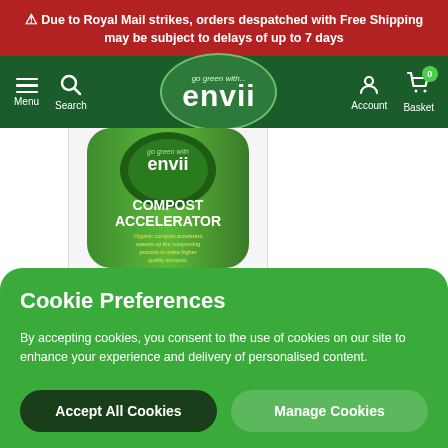Due to Royal Mail strikes, orders despatched with Free Shipping may be subject to delays of up to 7 days
[Figure (screenshot): Envii website navigation bar with menu, search, logo, account and basket icons on dark green background]
[Figure (photo): Envii Compost Accelerator product bag - green bag with envii logo, text 'COMPOST ACCELERATOR', 'Organic compost accelerant speeds up the composting process to make higher quality compost.' and www.envii.co.uk]
Cookie Preferences
By accepting cookies, you consent to the use of cookies on our site to enhance your experience and delivery of personalised content.
Accept All Cookies
Manage Cookies